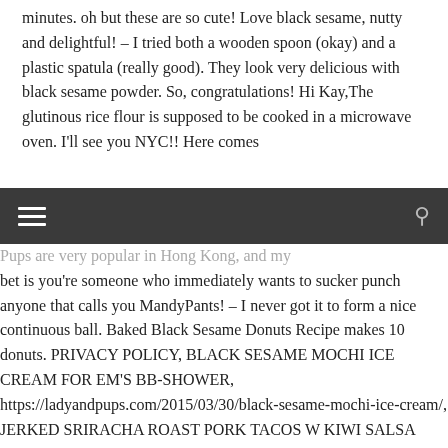minutes. oh but these are so cute! Love black sesame, nutty and delightful! – I tried both a wooden spoon (okay) and a plastic spatula (really good). They look very delicious with black sesame powder. So, congratulations! Hi Kay,The glutinous rice flour is supposed to be cooked in a microwave oven. I'll see you NYC!! Here comes
Pups are very popular in Hong Kong, and my bet is you're someone who immediately wants to sucker punch anyone that calls you MandyPants! – I never got it to form a nice continuous ball. Baked Black Sesame Donuts Recipe makes 10 donuts. PRIVACY POLICY, BLACK SESAME MOCHI ICE CREAM FOR EM'S BB-SHOWER, https://ladyandpups.com/2015/03/30/black-sesame-mochi-ice-cream/, JERKED SRIRACHA ROAST PORK TACOS W KIWI SALSA